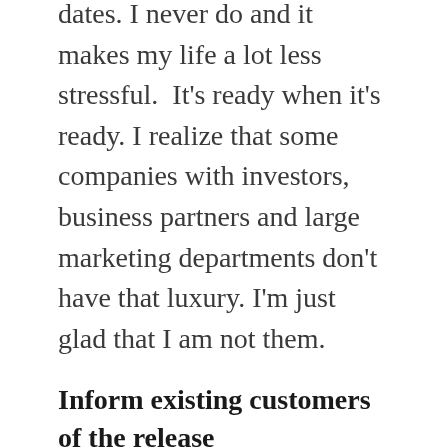dates. I never do and it makes my life a lot less stressful.  It's ready when it's ready. I realize that some companies with investors, business partners and large marketing departments don't have that luxury. I'm just glad that I am not them.
Inform existing customers of the release
There isn't much point in putting out releases if no-one knows about them. By default my software checks an XML file on my server weekly and informs the customer if a new update is available. I also send out a newsletter with each software release. I